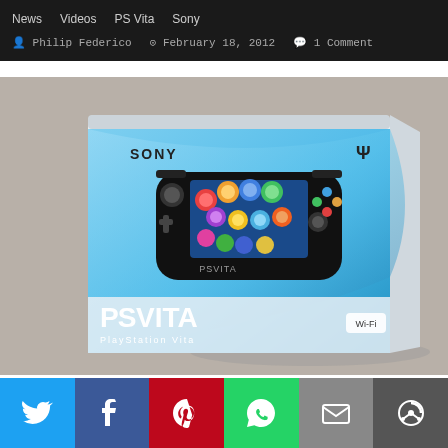News   Videos   PS Vita   Sony
Philip Federico   February 18, 2012   1 Comment
[Figure (photo): Photo of a Sony PS Vita Wi-Fi console retail box. The box shows the PS Vita handheld device on a blue gradient background with 'PSVITA' and 'PlayStation Vita' branding and a 'Wi-Fi' label in the bottom right corner.]
Twitter | Facebook | Pinterest | WhatsApp | Email | More